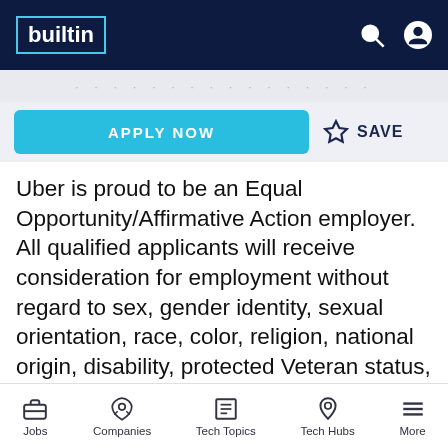builtin
APPLY NOW   ☆ SAVE
Uber is proud to be an Equal Opportunity/Affirmative Action employer. All qualified applicants will receive consideration for employment without regard to sex, gender identity, sexual orientation, race, color, religion, national origin, disability, protected Veteran status, age, or any other characteristic protected by law. We also consider qualified applicants regardless of criminal histories,
Jobs   Companies   Tech Topics   Tech Hubs   More